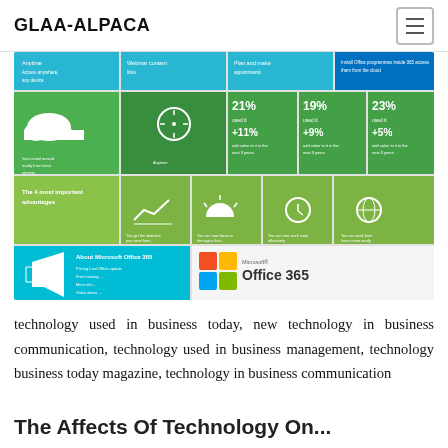GLAA-ALPACA
[Figure (infographic): Microsoft Office 365 infographic showing cloud features, usage statistics (21% +11%, 19% +9%, 23% +5%), the 4 most important advantages with icons, and Microsoft Office 365 logo with tagline.]
technology used in business today, new technology in business communication, technology used in business management, technology business today magazine, technology in business communication
The Affects Of Technology On...